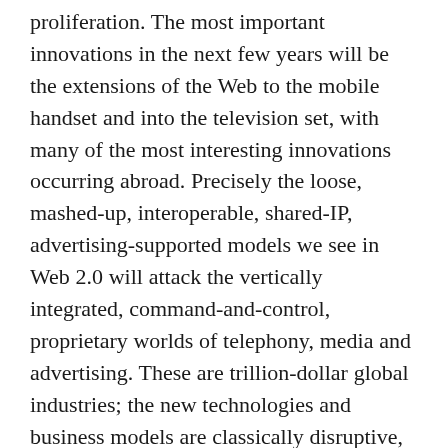proliferation. The most important innovations in the next few years will be the extensions of the Web to the mobile handset and into the television set, with many of the most interesting innovations occurring abroad. Precisely the loose, mashed-up, interoperable, shared-IP, advertising-supported models we see in Web 2.0 will attack the vertically integrated, command-and-control, proprietary worlds of telephony, media and advertising. These are trillion-dollar global industries; the new technologies and business models are classically disruptive, the attackers are among the smartest and best-funded companies out there, but the defenders understand that their survival is at stake. Whether we call it Web 3.0 or not, this battle will command our attention for some considerable time.